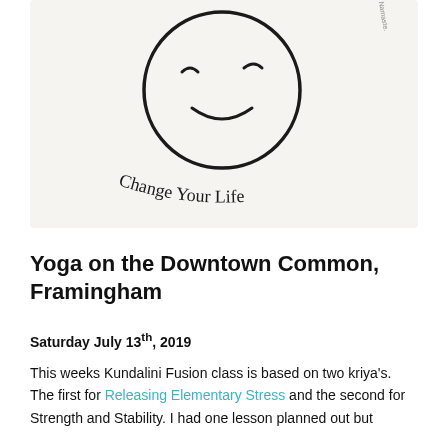[Figure (illustration): Hand-drawn smiley face with closed eyes and a smile, with handwritten text 'Change Your Life' curved below the face on a light background.]
Yoga on the Downtown Common, Framingham
Saturday July 13th, 2019
This weeks Kundalini Fusion class is based on two kriya's. The first for Releasing Elementary Stress and the second for Strength and Stability. I had one lesson planned out but